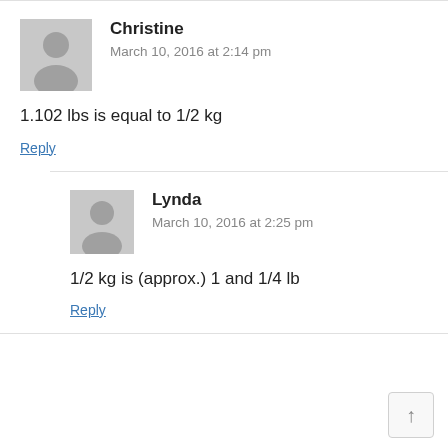Christine
March 10, 2016 at 2:14 pm
1.102 lbs is equal to 1/2 kg
Reply
Lynda
March 10, 2016 at 2:25 pm
1/2 kg is (approx.) 1 and 1/4 lb
Reply